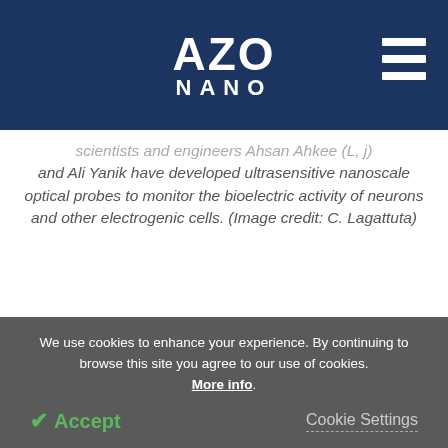AZO NANO
...scientists and engineers Ahsan Ahkee (sic) and Ali Yanik have developed ultrasensitive nanoscale optical probes to monitor the bioelectric activity of neurons and other electrogenic cells. (Image credit: C. Lagattuta)
This innovative readout technology could allow researchers to analyze how neural circuits operate at
We use cookies to enhance your experience. By continuing to browse this site you agree to our use of cookies. More info. Accept | Cookie Settings